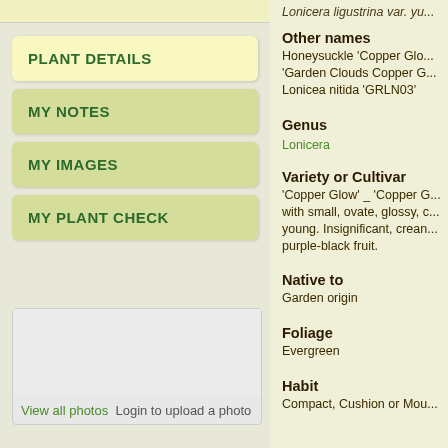Lonicera ligustrina var. yu...
PLANT DETAILS
MY NOTES
MY IMAGES
MY PLANT CHECK
[Figure (photo): Empty photo upload area]
View all photos  Login to upload a photo
Other names
Honeysuckle 'Copper Glo... 'Garden Clouds Copper G... Lonicea nitida 'GRLN03'
Genus
Lonicera
Variety or Cultivar
'Copper Glow' _ 'Copper G... with small, ovate, glossy, c... young. Insignificant, crean... purple-black fruit.
Native to
Garden origin
Foliage
Evergreen
Habit
Compact, Cushion or Mou...